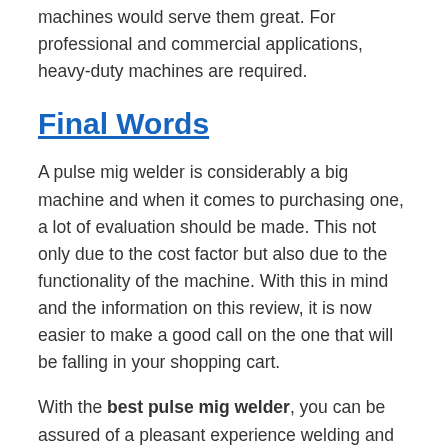machines would serve them great. For professional and commercial applications, heavy-duty machines are required.
Final Words
A pulse mig welder is considerably a big machine and when it comes to purchasing one, a lot of evaluation should be made. This not only due to the cost factor but also due to the functionality of the machine. With this in mind and the information on this review, it is now easier to make a good call on the one that will be falling in your shopping cart.
With the best pulse mig welder, you can be assured of a pleasant experience welding and even learning the best of the practices. This is for both those who will be doing it professionally and for those doing it as a hobby.